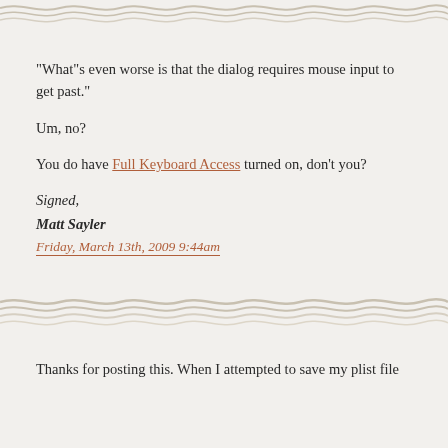[Figure (illustration): Decorative wavy horizontal divider lines at top of page]
“What”s even worse is that the dialog requires mouse input to get past.”
Um, no?
You do have Full Keyboard Access turned on, don’t you?
Signed,
Matt Sayler
Friday, March 13th, 2009 9:44am
[Figure (illustration): Decorative wavy horizontal divider lines in middle of page]
Thanks for posting this. When I attempted to save my plist file